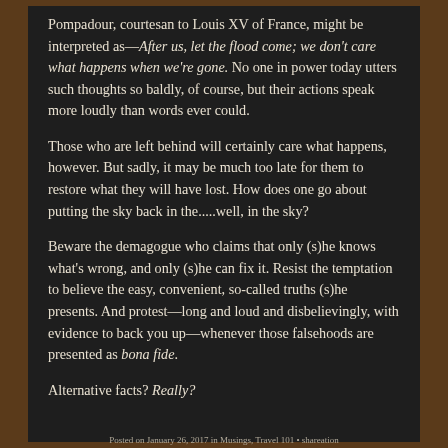Pompadour, courtesan to Louis XV of France, might be interpreted as—After us, let the flood come; we don't care what happens when we're gone.  No one in power today utters such thoughts so baldly, of course, but their actions speak more loudly than words ever could.
Those who are left behind will certainly care what happens, however.  But sadly, it may be much too late for them to restore what they will have lost.  How does one go about putting the sky back in the.....well, in the sky?
Beware the demagogue who claims that only (s)he knows what's wrong, and only (s)he can fix it.  Resist the temptation to believe the easy, convenient, so-called truths (s)he presents.  And protest—long and loud and disbelievingly, with evidence to back you up—whenever those falsehoods are presented as bona fide.
Alternative facts?  Really?
Posted on January 26, 2017 in Musings, Travel 101 • shareation